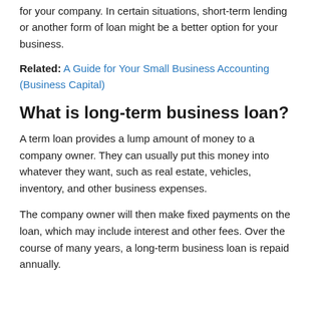for your company. In certain situations, short-term lending or another form of loan might be a better option for your business.
Related: A Guide for Your Small Business Accounting (Business Capital)
What is long-term business loan?
A term loan provides a lump amount of money to a company owner. They can usually put this money into whatever they want, such as real estate, vehicles, inventory, and other business expenses.
The company owner will then make fixed payments on the loan, which may include interest and other fees. Over the course of many years, a long-term business loan is repaid annually.